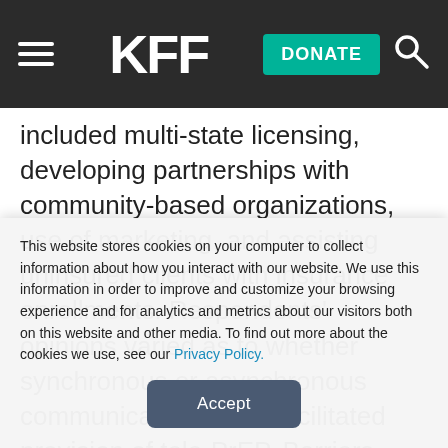KFF | DONATE
included multi-state licensing, developing partnerships with community-based organizations, use of marketing, and assisting uninsured clients with insurance enrollments. Respondents' opinions varied as to whether synchronous or asynchronous communication better facilitated provision of tele-PrEP. Barriers included the challenge of
This website stores cookies on your computer to collect information about how you interact with our website. We use this information in order to improve and customize your browsing experience and for analytics and metrics about our visitors both on this website and other media. To find out more about the cookies we use, see our Privacy Policy.
Accept